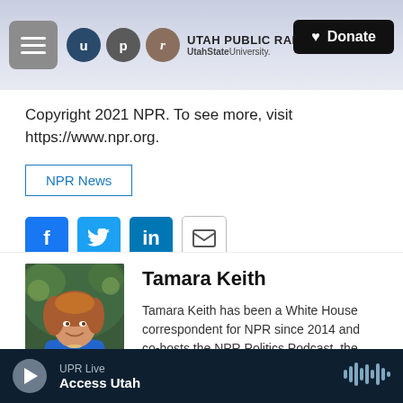[Figure (screenshot): Utah Public Radio website header with hamburger menu, UPR logo circles (u, p, r), UTAH PUBLIC RADIO UtahStateUniversity. text, and a black Donate button with heart icon]
Copyright 2021 NPR. To see more, visit https://www.npr.org.
NPR News
[Figure (other): Social sharing buttons: Facebook (f), Twitter bird, LinkedIn (in), and email envelope icons]
[Figure (photo): Headshot photo of Tamara Keith, a woman with auburn hair wearing a blue top, smiling, photographed outdoors]
Tamara Keith
Tamara Keith has been a White House correspondent for NPR since 2014 and co-hosts the NPR Politics Podcast, the top
UPR Live  Access Utah